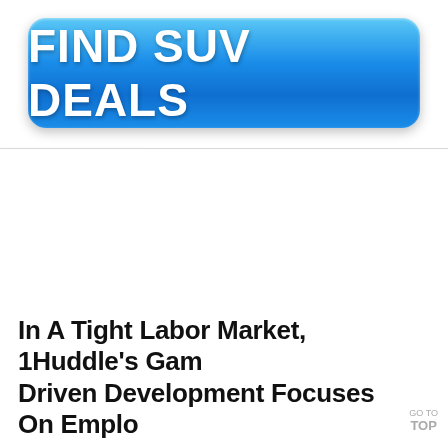[Figure (other): Blue gradient button/advertisement banner with text FIND SUV DEALS in white bold font]
[Figure (other): Browser tab bar element showing a collapse/up-arrow chevron icon]
In A Tight Labor Market, 1Huddle's Game-Driven Development Focuses On Emplo…